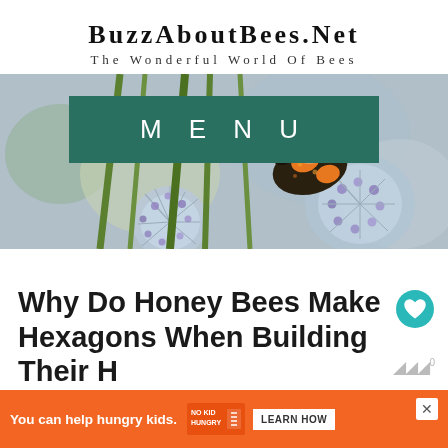BuzzAboutBees.Net
The Wonderful World Of Bees
[Figure (photo): Close-up photo of a bumblebee on a blue thistle flower with green stems and blurred background. A teal MENU button overlay appears in the upper center.]
Why Do Honey Bees Make Hexagons When Building Their H...
[Figure (other): Advertisement bar: orange background with 'You can help hungry kids.' text, No Kid Hungry logo, and LEARN HOW button. Has a close (x) button.]